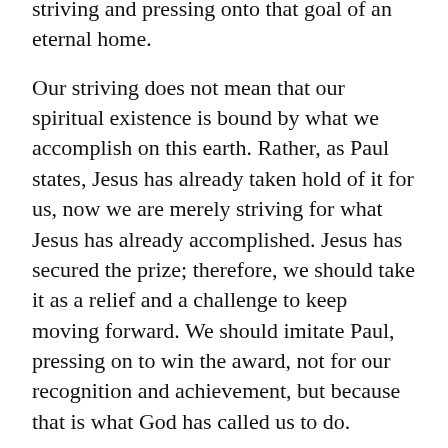striving and pressing onto that goal of an eternal home.
Our striving does not mean that our spiritual existence is bound by what we accomplish on this earth. Rather, as Paul states, Jesus has already taken hold of it for us, now we are merely striving for what Jesus has already accomplished. Jesus has secured the prize; therefore, we should take it as a relief and a challenge to keep moving forward. We should imitate Paul, pressing on to win the award, not for our recognition and achievement, but because that is what God has called us to do.
It is not easy to daily live out and profess our beliefs. It is easy to give up and stop pushing ourselves. Perhaps we feel as though we have arrived or that we have